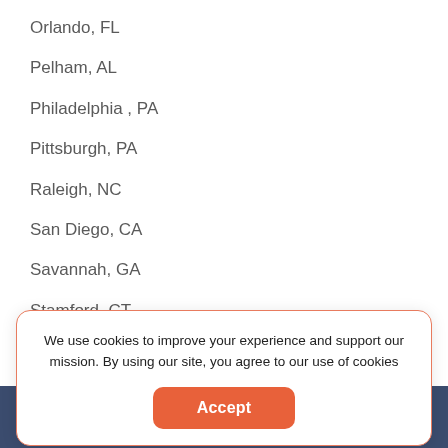Orlando, FL
Pelham, AL
Philadelphia , PA
Pittsburgh, PA
Raleigh, NC
San Diego, CA
Savannah, GA
Stamford, CT
Summerville, SC
We use cookies to improve your experience and support our mission. By using our site, you agree to our use of cookies
[Figure (other): Accept button for cookie consent]
GOOD logo footer bar